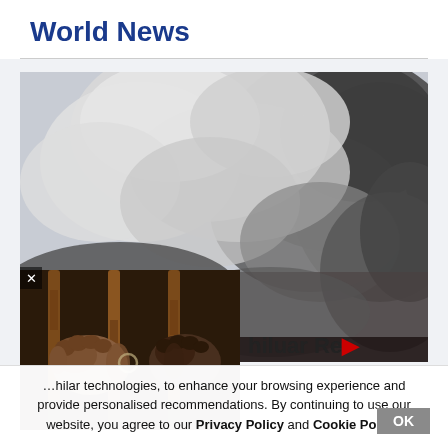World News
[Figure (photo): Large billowing smoke cloud with fire visible at lower left, dramatic scene of an explosion or fire]
[Figure (photo): Close-up of two dark-skinned hands gripping rusted metal prison bars]
…hilar technologies, to enhance your browsing experience and provide personalised recommendations. By continuing to use our website, you agree to our Privacy Policy and Cookie Policy.